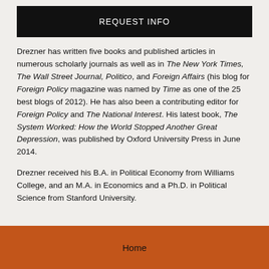REQUEST INFO
Drezner has written five books and published articles in numerous scholarly journals as well as in The New York Times, The Wall Street Journal, Politico, and Foreign Affairs (his blog for Foreign Policy magazine was named by Time as one of the 25 best blogs of 2012). He has also been a contributing editor for Foreign Policy and The National Interest. His latest book, The System Worked: How the World Stopped Another Great Depression, was published by Oxford University Press in June 2014.
Drezner received his B.A. in Political Economy from Williams College, and an M.A. in Economics and a Ph.D. in Political Science from Stanford University.
Home